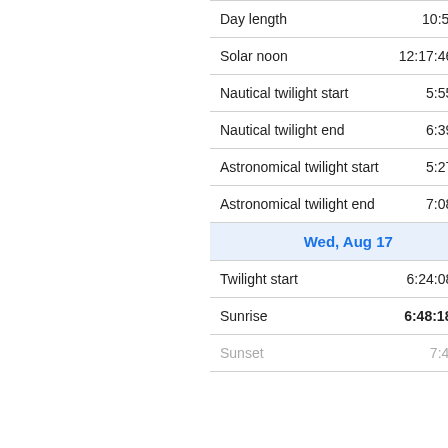|  |  |
| --- | --- |
| Day length | 10:56:44 |
| Solar noon | 12:17:46 pm |
| Nautical twilight start | 5:55 am |
| Nautical twilight end | 6:39 pm |
| Astronomical twilight start | 5:27 am |
| Astronomical twilight end | 7:08 pm |
| Wed, Aug 17 |  |
| Twilight start | 6:24:08 am |
| Sunrise | 6:48:18 am |
| Sunset | 7:44:?? |